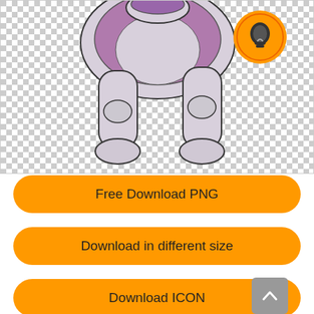[Figure (illustration): A cartoon-style illustrated dog (light gray/white coloring) with a purple vest/jacket, shown from the torso down showing legs and paws. The dog stands on a checkered transparent background. An orange circle with a lightbulb icon appears in the upper right of the image area.]
Free Download PNG
Download in different size
Download ICON